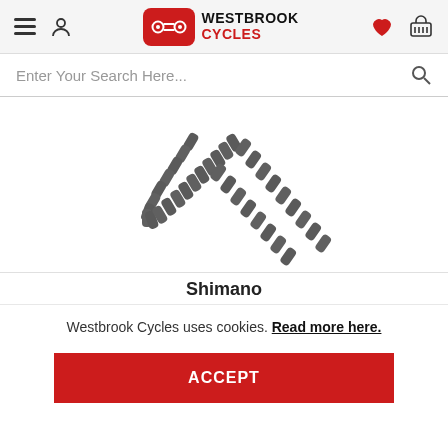Westbrook Cycles header with navigation icons and logo
Enter Your Search Here...
[Figure (photo): Photograph of a Shimano bicycle chain against a white background, folded in a U-shape and angled diagonally]
Shimano
Westbrook Cycles uses cookies. Read more here.
ACCEPT